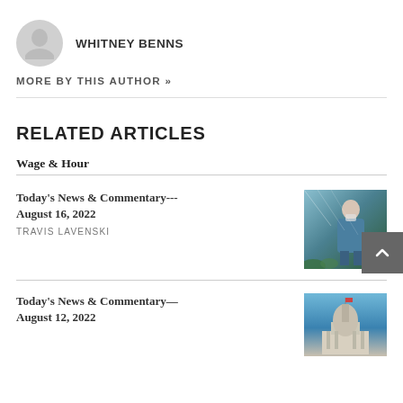WHITNEY BENNS
MORE BY THIS AUTHOR »
RELATED ARTICLES
Wage & Hour
Today's News & Commentary---August 16, 2022
TRAVIS LAVENSKI
[Figure (photo): Photo of a nurse wearing a face mask, standing in a building with glass ceiling]
Today's News & Commentary—August 12, 2022
[Figure (photo): Photo of a government capitol building dome against a blue sky]